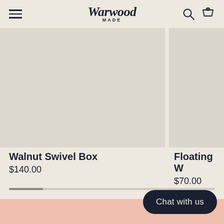Warwood Made — navigation header with hamburger menu, logo, search and cart icons
[Figure (photo): Product image area for Walnut Swivel Box on beige background]
[Figure (photo): Partial product image for Floating W... on beige background]
Walnut Swivel Box
$140.00
Floating W
$70.00
Chat with us